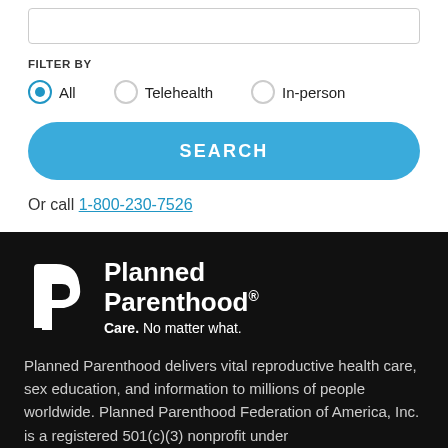FILTER BY
All (selected), Telehealth, In-person
SEARCH
Or call 1-800-230-7526
[Figure (logo): Planned Parenthood logo with shield icon and tagline 'Care. No matter what.']
Planned Parenthood delivers vital reproductive health care, sex education, and information to millions of people worldwide. Planned Parenthood Federation of America, Inc. is a registered 501(c)(3) nonprofit under